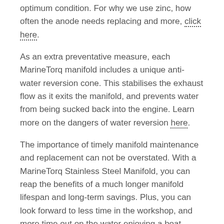optimum condition. For why we use zinc, how often the anode needs replacing and more, click here.
As an extra preventative measure, each MarineTorq manifold includes a unique anti-water reversion cone. This stabilises the exhaust flow as it exits the manifold, and prevents water from being sucked back into the engine. Learn more on the dangers of water reversion here.
The importance of timely manifold maintenance and replacement can not be overstated. With a MarineTorq Stainless Steel Manifold, you can reap the benefits of a much longer manifold lifespan and long-term savings. Plus, you can look forward to less time in the workshop, and more time out on the water enjoying a boat which runs smoother, faster, and more efficiently.
STAINLESS STEEL MANIFOLD FEATURES